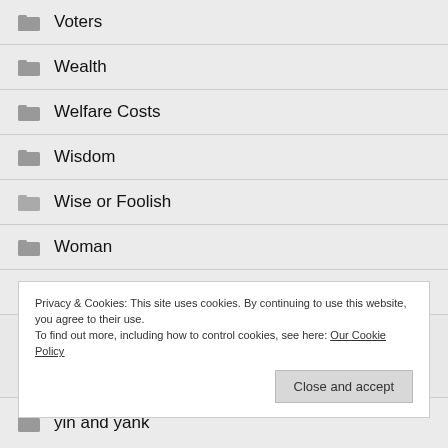Voters
Wealth
Welfare Costs
Wisdom
Wise or Foolish
Woman
Women
Privacy & Cookies: This site uses cookies. By continuing to use this website, you agree to their use.
To find out more, including how to control cookies, see here: Our Cookie Policy
yin and yank